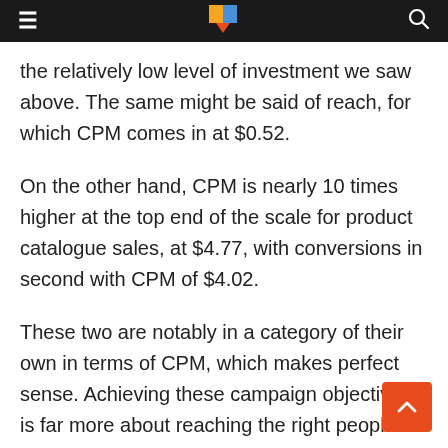the relatively low level of investment we saw above. The same might be said of reach, for which CPM comes in at $0.52.
On the other hand, CPM is nearly 10 times higher at the top end of the scale for product catalogue sales, at $4.77, with conversions in second with CPM of $4.02.
These two are notably in a category of their own in terms of CPM, which makes perfect sense. Achieving these campaign objectives is far more about reaching the right people than it is reaching as many people as possible. So while CPM may be much higher